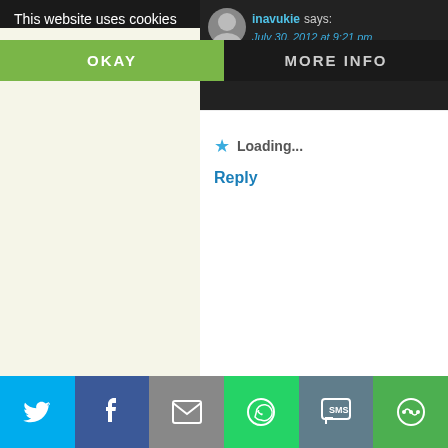This website uses cookies
OKAY
MORE INFO
inavukie says:
July 30, 2012 at 9:21 pm
Thank you K… their comment!
Loading...
Reply
Teresita Bordges says:
August 14, 2012 at 8:26 am
Thanks a ton for this – love the info and perspective. However many others will speaking up. Nice blog, well done!
Loading...
Reply
[Figure (screenshot): Social share bar at bottom with Twitter, Facebook, email, WhatsApp, SMS, and more icons]